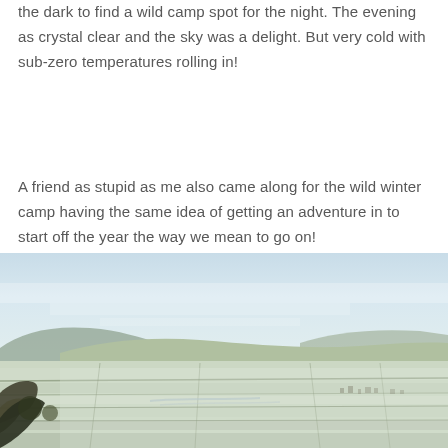the dark to find a wild camp spot for the night. The evening as crystal clear and the sky was a delight. But very cold with sub-zero temperatures rolling in!
A friend as stupid as me also came along for the wild winter camp having the same idea of getting an adventure in to start off the year the way we mean to go on!
[Figure (photo): Panoramic landscape photograph showing a frosty winter countryside view with fields, hedgerows, a valley, and a pale blue sky with light clouds.]